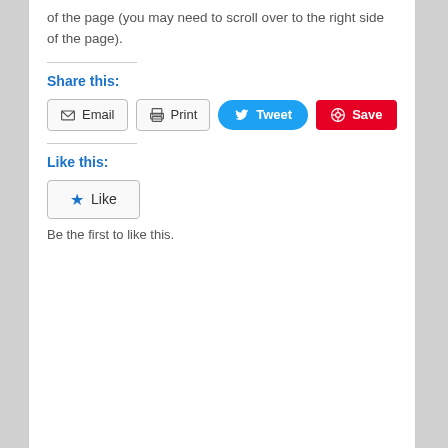of the page (you may need to scroll over to the right side of the page).
Share this:
[Figure (other): Social sharing buttons: Email, Print, Tweet, Save]
Like this:
[Figure (other): Like button with star icon]
Be the first to like this.